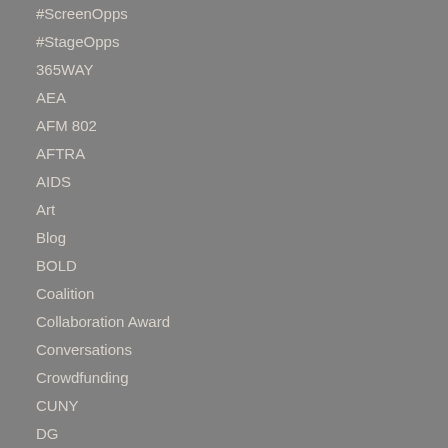#ScreenOpps
#StageOpps
365WAY
AEA
AFM 802
AFTRA
AIDS
Art
Blog
BOLD
Coalition
Collaboration Award
Conversations
Crowdfunding
CUNY
DG
Discounts
DO40
Drama Desk